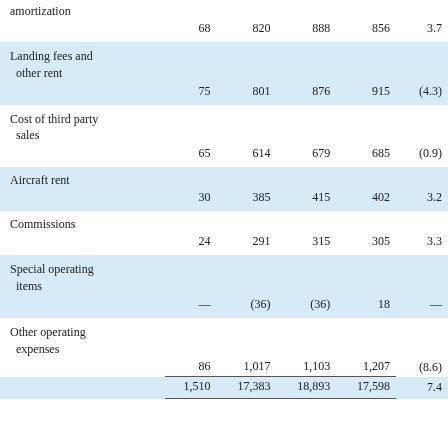|  |  |  |  |  |  |
| --- | --- | --- | --- | --- | --- |
| amortization |  |  |  |  |  |
|  | 68 | 820 | 888 | 856 | 3.7 |
| Landing fees and other rent |  |  |  |  |  |
|  | 75 | 801 | 876 | 915 | (4.3) |
| Cost of third party sales |  |  |  |  |  |
|  | 65 | 614 | 679 | 685 | (0.9) |
| Aircraft rent |  |  |  |  |  |
|  | 30 | 385 | 415 | 402 | 3.2 |
| Commissions |  |  |  |  |  |
|  | 24 | 291 | 315 | 305 | 3.3 |
| Special operating items |  |  |  |  |  |
|  | — | (36) | (36) | 18 | — |
| Other operating expenses |  |  |  |  |  |
|  | 86 | 1,017 | 1,103 | 1,207 | (8.6) |
|  | 1,510 | 17,383 | 18,893 | 17,598 | 7.4 |